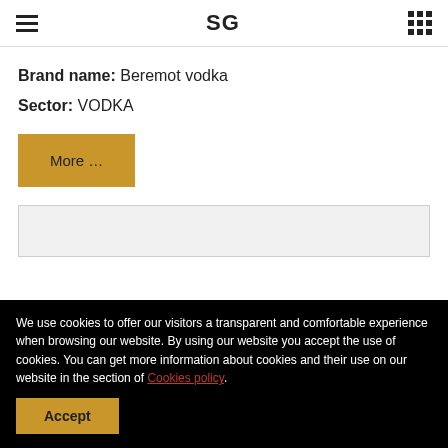SG
Brand name: Beremot vodka
Sector: VODKA
More ...
[Figure (other): Gray empty content box below the More button]
We use cookies to offer our visitors a transparent and comfortable experience when browsing our website. By using our website you accept the use of cookies. You can get more information about cookies and their use on our website in the section of Cookies policy.
Accept